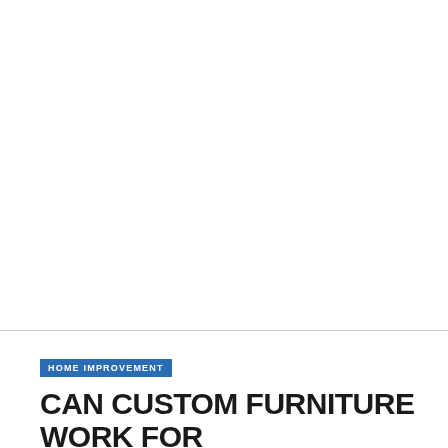[Figure (photo): Large white/blank image area occupying the upper portion of the page]
HOME IMPROVEMENT
CAN CUSTOM FURNITURE WORK FOR